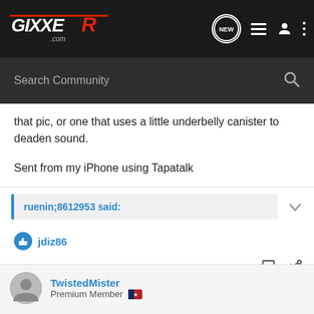GixxeR.com - NEW [nav icons]
that pic, or one that uses a little underbelly canister to deaden sound.
Sent from my iPhone using Tapatalk
ruenin;8612953 said:
jdiz86
TwistedMister  Premium Member